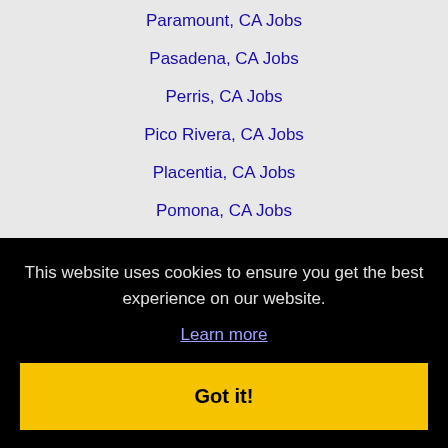Paramount, CA Jobs
Pasadena, CA Jobs
Perris, CA Jobs
Pico Rivera, CA Jobs
Placentia, CA Jobs
Pomona, CA Jobs
Poway, CA Jobs
Rancho Cucamonga, CA Jobs
Rancho Palos Verdes, CA Jobs
This website uses cookies to ensure you get the best experience on our website.
Learn more
Got it!
San Clemente, CA Jobs